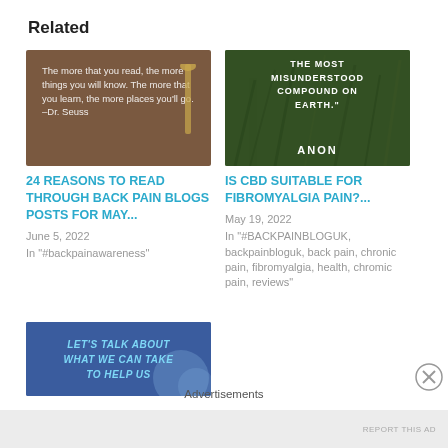Related
[Figure (photo): Book image with Dr. Seuss quote: The more that you read, the more things you will know. The more that you learn, the more places you'll go. -Dr. Seuss]
24 REASONS TO READ THROUGH BACK PAIN BLOGS POSTS FOR MAY...
June 5, 2022
In "#backpainawareness"
[Figure (photo): Green grass background with text: THE MOST MISUNDERSTOOD COMPOUND ON EARTH." ANON]
IS CBD SUITABLE FOR FIBROMYALGIA PAIN?...
May 19, 2022
In "#BACKPAINBLOGUK, backpainbloguk, back pain, chronic pain, fibromyalgia, health, chromic pain, reviews"
[Figure (photo): Blue banner image with text: LET'S TALK ABOUT WHAT WE CAN TAKE TO HELP US]
Advertisements